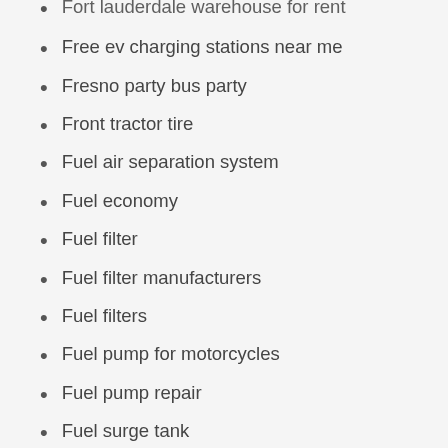Fort lauderdale warehouse for rent
Free ev charging stations near me
Fresno party bus party
Front tractor tire
Fuel air separation system
Fuel economy
Fuel filter
Fuel filter manufacturers
Fuel filters
Fuel pump for motorcycles
Fuel pump repair
Fuel surge tank